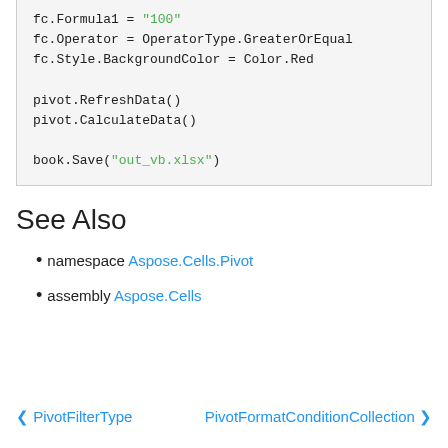fc.Formula1 = "100"
fc.Operator = OperatorType.GreaterOrEqual
fc.Style.BackgroundColor = Color.Red

pivot.RefreshData()
pivot.CalculateData()

book.Save("out_vb.xlsx")
See Also
namespace Aspose.Cells.Pivot
assembly Aspose.Cells
< PivotFilterType    PivotFormatConditionCollection >